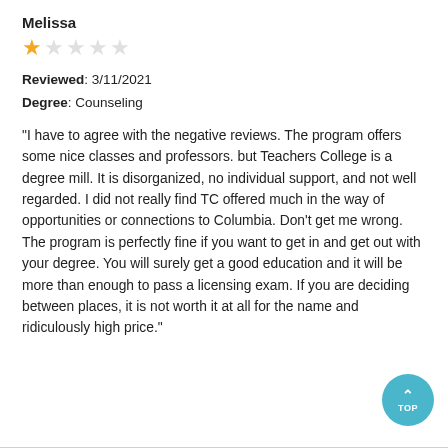Melissa
[Figure (other): 1 out of 5 stars rating (1 filled star, 4 empty stars)]
Reviewed: 3/11/2021
Degree: Counseling
"I have to agree with the negative reviews. The program offers some nice classes and professors. but Teachers College is a degree mill. It is disorganized, no individual support, and not well regarded. I did not really find TC offered much in the way of opportunities or connections to Columbia. Don't get me wrong. The program is perfectly fine if you want to get in and get out with your degree. You will surely get a good education and it will be more than enough to pass a licensing exam. If you are deciding between places, it is not worth it at all for the name and ridiculously high price."